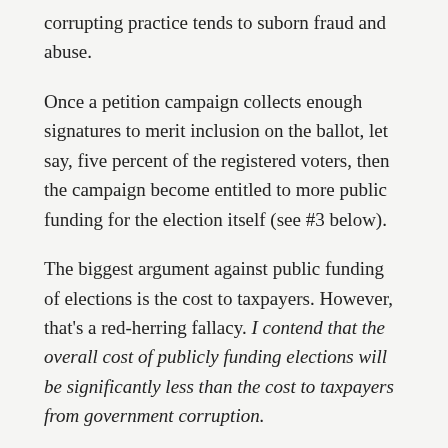corrupting practice tends to suborn fraud and abuse.
Once a petition campaign collects enough signatures to merit inclusion on the ballot, let say, five percent of the registered voters, then the campaign become entitled to more public funding for the election itself (see #3 below).
The biggest argument against public funding of elections is the cost to taxpayers. However, that’s a red-herring fallacy. I contend that the overall cost of publicly funding elections will be significantly less than the cost to taxpayers from government corruption.
Think of all the tax money that could be saved by honestly elected representatives refusing to approve pork-barrel projects. Think of all the tax money we could save — from heedless healthcare waste to